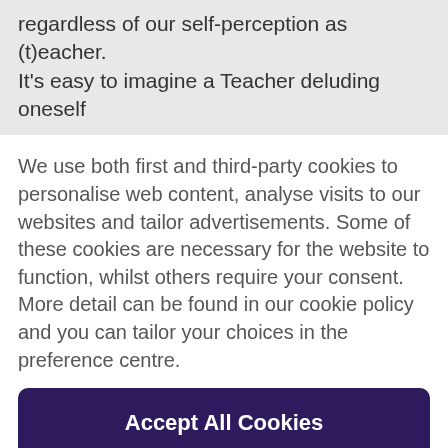regardless of our self-perception as (t)eacher. It's easy to imagine a Teacher deluding oneself
We use both first and third-party cookies to personalise web content, analyse visits to our websites and tailor advertisements. Some of these cookies are necessary for the website to function, whilst others require your consent. More detail can be found in our cookie policy and you can tailor your choices in the preference centre.
Accept All Cookies
Cookies Settings